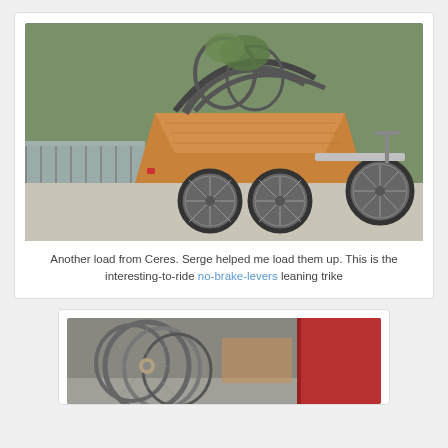[Figure (photo): A custom-built three-wheeled cargo trike with a large wooden box body, bicycle wheels, and a curved metal frame loaded with bike rims and plants, parked on a sidewalk near a fence with greenery.]
Another load from Ceres. Serge helped me load them up. This is the interesting-to-ride no-brake-levers leaning trike
[Figure (photo): A collection of bicycle wheels/rims stacked together, with a red vehicle or object visible in the background.]